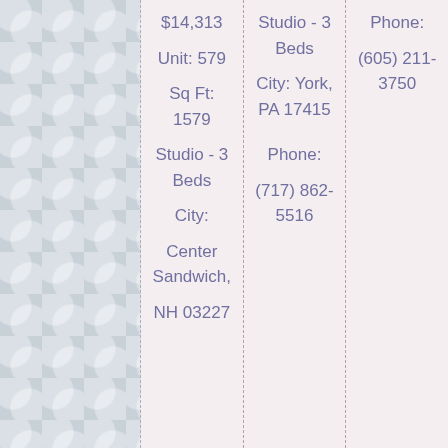$14,313

Unit: 579

Sq Ft: 1579

Studio - 3 Beds

City: Center Sandwich, NH 03227
Studio - 3 Beds

City: York, PA 17415

Phone: (717) 862-5516
Phone: (605) 211-3750